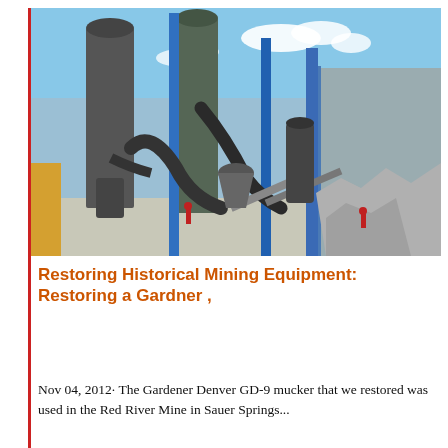[Figure (photo): Outdoor industrial mining facility with large grey silos, blue structural supports, dark pipes and conveyor equipment, a large pile of grey crushed rock on the right, a metal building facade on the far right, blue sky with clouds in background, workers visible in midground.]
Restoring Historical Mining Equipment: Restoring a Gardner ,
Nov 04, 2012· The Gardener Denver GD-9 mucker that we restored was used in the Red River Mine in Sauer Springs...